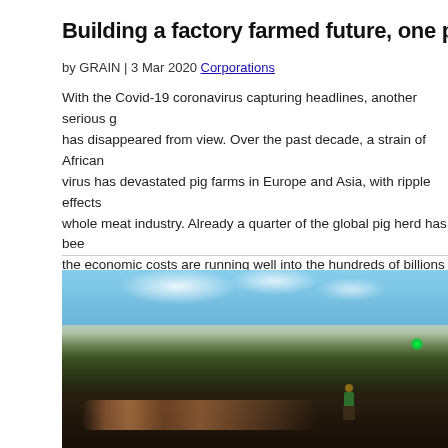Building a factory farmed future, one pandemic at a ti...
by GRAIN | 3 Mar 2020 Corporations
With the Covid-19 coronavirus capturing headlines, another serious g... has disappeared from view. Over the past decade, a strain of African... virus has devastated pig farms in Europe and Asia, with ripple effects... whole meat industry. Already a quarter of the global pig herd has bee... the economic costs are running well into the hundreds of billions of d...
[Figure (photo): Outdoor scene showing a person in a green shirt standing among pigs or livestock animals in a dry scrubland area with trees and a blue sky with clouds in the background. A green light is visible on the right side.]